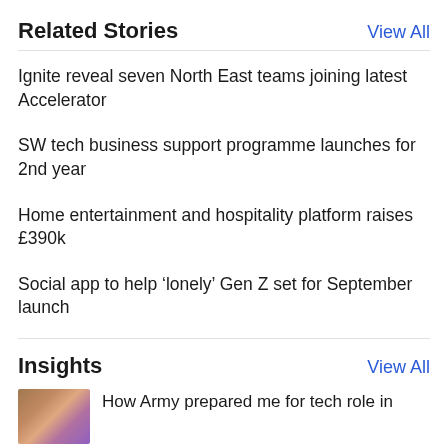Related Stories
View All
Ignite reveal seven North East teams joining latest Accelerator
SW tech business support programme launches for 2nd year
Home entertainment and hospitality platform raises £390k
Social app to help ‘lonely’ Gen Z set for September launch
Insights
View All
[Figure (photo): Thumbnail image for an Insights article about Army and tech role]
How Army prepared me for tech role in